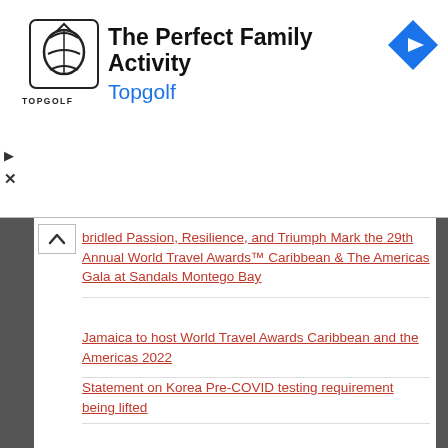[Figure (logo): Topgolf advertisement banner with logo, title 'The Perfect Family Activity', subtitle 'Topgolf', and navigation icon]
bridled Passion, Resilience, and Triumph Mark the 29th Annual World Travel Awards™ Caribbean & The Americas Gala at Sandals Montego Bay
Jamaica to host World Travel Awards Caribbean and the Americas 2022
Statement on Korea Pre-COVID testing requirement being lifted
Caravaggio The Musical Premieres in Malta The Rise and Fall of the World-Famous Italian Artist
Bartlett Commends the Jamaica Centre of Tourism Innovation for Achieving 94% Pass Rate for Candidates